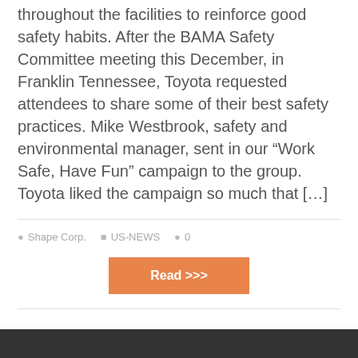throughout the facilities to reinforce good safety habits. After the BAMA Safety Committee meeting this December, in Franklin Tennessee, Toyota requested attendees to share some of their best safety practices. Mike Westbrook, safety and environmental manager, sent in our “Work Safe, Have Fun” campaign to the group. Toyota liked the campaign so much that […]
Shape Corp.  US-NEWS  0
Read >>>